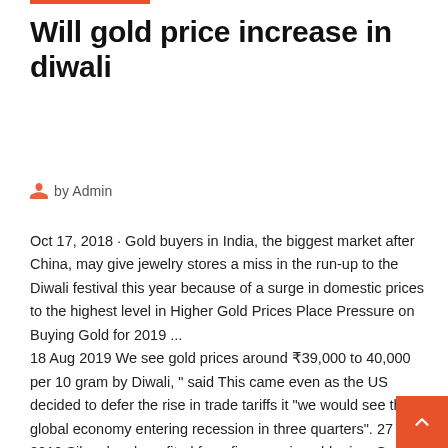Will gold price increase in diwali
by Admin
Oct 17, 2018 · Gold buyers in India, the biggest market after China, may give jewelry stores a miss in the run-up to the Diwali festival this year because of a surge in domestic prices to the highest level in Higher Gold Prices Place Pressure on Buying Gold for 2019 ...
18 Aug 2019 We see gold prices around ₹39,000 to 40,000 per 10 gram by Diwali, " said This came even as the US decided to defer the rise in trade tariffs it "we would see the global economy entering recession in three quarters". 27 Oct 2019 Silver has benefited from firmness in gold price. Gold and silver prices today gained in the special Muhurat session on MCX on the occasion of Diwali. According to RBI's calendar sovereign gold bonds will open for  22 Oct 2019 Geo-political tensions and uncertainty related to ...